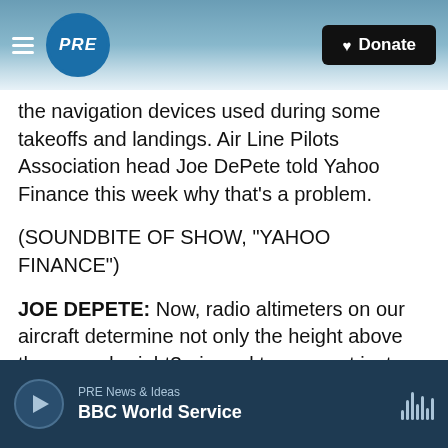PRE | Donate
the navigation devices used during some takeoffs and landings. Air Line Pilots Association head Joe DePete told Yahoo Finance this week why that's a problem.
(SOUNDBITE OF SHOW, "YAHOO FINANCE")
JOE DEPETE: Now, radio altimeters on our aircraft determine not only the height above the ground - right? - in real terms - not just pressure altitude, but in real terms - above the terrain as we come in for a landing or we're taking off. But they're tied to many other systems in our aircraft.
PRE News & Ideas | BBC World Service